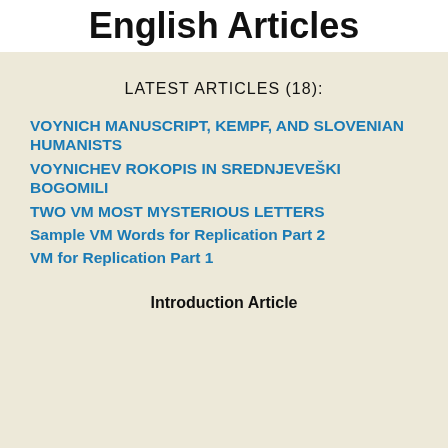English Articles
LATEST ARTICLES (18):
VOYNICH MANUSCRIPT, KEMPF, AND SLOVENIAN HUMANISTS
VOYNICHEV ROKOPIS IN SREDNJEVEŠKI BOGOMILI
TWO VM MOST MYSTERIOUS LETTERS
Sample VM Words for Replication Part 2
VM for Replication Part 1
Introduction Article